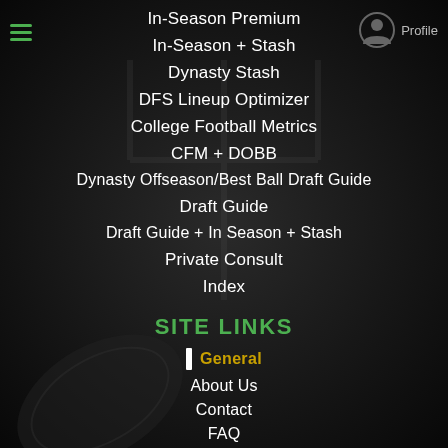[Figure (screenshot): Navigation menu screenshot of a fantasy football website with dark background, hamburger menu icon top left, profile/login icon top right]
In-Season Premium
In-Season + Stash
Dynasty Stash
DFS Lineup Optimizer
College Football Metrics
CFM + DOBB
Dynasty Offseason/Best Ball Draft Guide
Draft Guide
Draft Guide + In Season + Stash
Private Consult
Index
SITE LINKS
General
About Us
Contact
FAQ
Updates